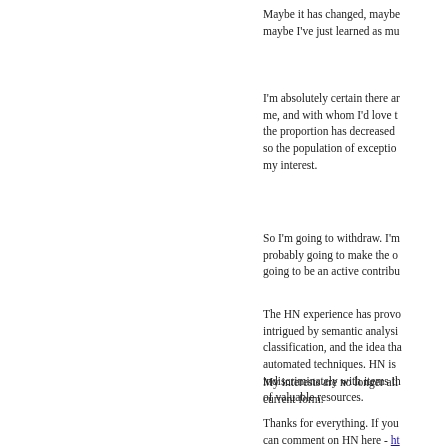Maybe it has changed, maybe maybe I've just learned as mu
I'm absolutely certain there ar me, and with whom I'd love t the proportion has decreased so the population of exceptio my interest.
So I'm going to withdraw. I'm probably going to make the o going to be an active contribu
The HN experience has provo intrigued by semantic analysi classification, and the idea tha automated techniques. HN is indiscriminately with items th of valuable resources.
My interests are no longer ali current form.
Thanks for everything. If you can comment on HN here - ht